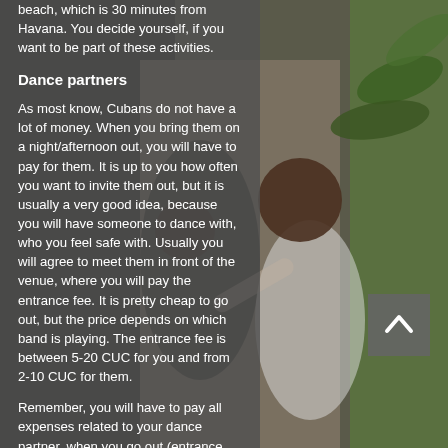beach, which is 30 minutes from Havana. You decide yourself, if you want to be part of these activities.
Dance partners
As most know, Cubans do not have a lot of money. When you bring them on a night/afternoon out, you will have to pay for them. It is up to you how often you want to invite them out, but it is usually a very good idea, because you will have someone to dance with, who you feel safe with. Usually you will agree to meet them in front of the venue, where you will pay the entrance fee. It is pretty cheap to go out, but the price depends on which band is playing. The entrance fee is between 5-20 CUC for you and from 2-10 CUC for them.
Remember, you will have to pay all expenses related to your dance partner, when you go out (entrance fee and drinks, plus a taxi 10 CUC). Cuban get their salary paid in local pesos from the school, approximately 20 CUC a month.
[Figure (photo): Background photo of two people dancing together outdoors with tropical foliage visible]